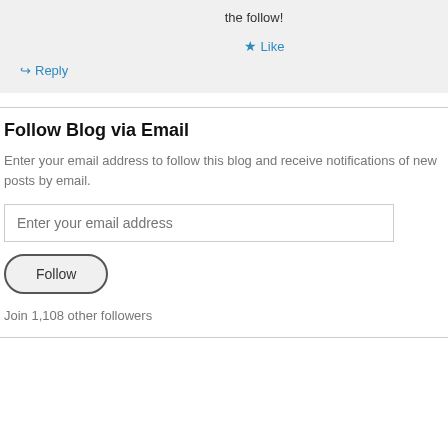the follow!
★ Like
↪ Reply
Follow Blog via Email
Enter your email address to follow this blog and receive notifications of new posts by email.
Enter your email address
Follow
Join 1,108 other followers